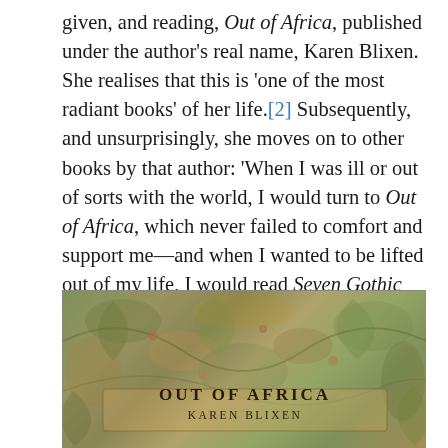given, and reading, Out of Africa, published under the author's real name, Karen Blixen. She realises that this is 'one of the most radiant books' of her life.[2] Subsequently, and unsurprisingly, she moves on to other books by that author: 'When I was ill or out of sorts with the world, I would turn to Out of Africa, which never failed to comfort and support me—and when I wanted to be lifted out of my life, I would read Seven Gothic Tales or Winter's Tales or, much later, The Last Tales.'[3]
[Figure (photo): Book cover of 'Out of Africa' by Karen Blixen, with decorative floral and nature motifs in green, gold, and brown tones.]